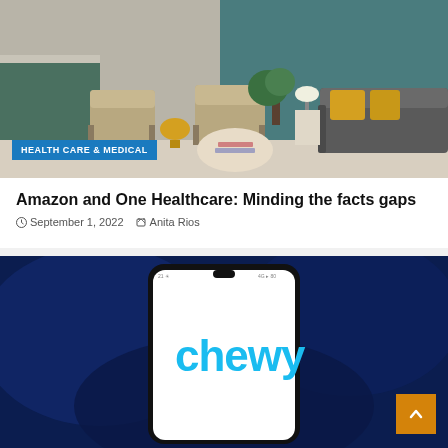[Figure (photo): Medical/healthcare waiting room interior with beige chairs, yellow side table, grey sofa, and plants. Blue badge overlay reads HEALTH CARE & MEDICAL.]
Amazon and One Healthcare: Minding the facts gaps
September 1, 2022   Anita Rios
[Figure (photo): Dark blue background with a smartphone displaying the Chewy logo in bright blue text on a white screen. Orange scroll-to-top button in bottom right corner.]